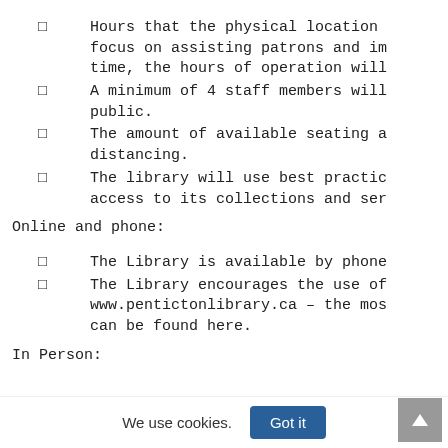Hours that the physical location focus on assisting patrons and im time, the hours of operation will
A minimum of 4 staff members will public.
The amount of available available seating a distancing.
The library will use best practic access to its collections and ser
Online and phone:
The Library is available by phone
The Library encourages the use of www.pentictonlibrary.ca – the mos can be found here.
In Person: